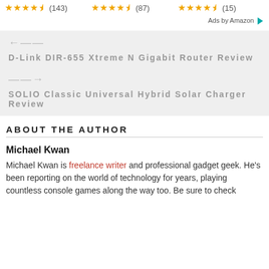★★★★½ (143)   ★★★★½ (87)   ★★★★½ (15)
Ads by Amazon ▶
← D-Link DIR-655 Xtreme N Gigabit Router Review
→ SOLIO Classic Universal Hybrid Solar Charger Review
ABOUT THE AUTHOR
Michael Kwan
Michael Kwan is freelance writer and professional gadget geek. He's been reporting on the world of technology for years, playing countless console games along the way too. Be sure to check